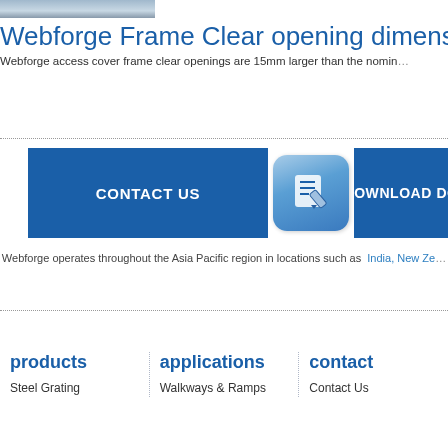[Figure (photo): Partial photo strip at top of page showing a product image]
Webforge Frame Clear opening dimensions
Webforge access cover frame clear openings are 15mm larger than the nominal size
[Figure (other): CONTACT US button (blue rectangle)]
[Figure (other): Icon button with pen/document illustration (rounded square)]
[Figure (other): DOWNLOAD DO... button (blue rectangle, partially visible)]
Webforge operates throughout the Asia Pacific region in locations such as  India, New Ze...
products
applications
contact
Steel Grating
Walkways & Ramps
Contact Us